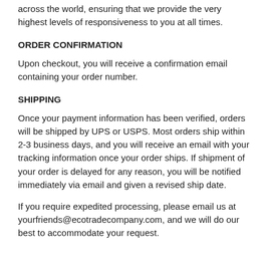across the world, ensuring that we provide the very highest levels of responsiveness to you at all times.
ORDER CONFIRMATION
Upon checkout, you will receive a confirmation email containing your order number.
SHIPPING
Once your payment information has been verified, orders will be shipped by UPS or USPS. Most orders ship within 2-3 business days, and you will receive an email with your tracking information once your order ships. If shipment of your order is delayed for any reason, you will be notified immediately via email and given a revised ship date.
If you require expedited processing, please email us at yourfriends@ecotradecompany.com, and we will do our best to accommodate your request.